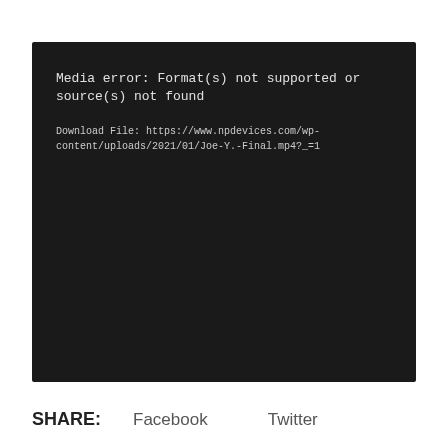[Figure (screenshot): Dark video player error screen showing 'Media error: Format(s) not supported or source(s) not found' with a download file link to https://www.npdevices.com/wp-content/uploads/2021/01/Joe-Y.-Final.mp4?_=1]
SHARE:   Facebook   Twitter